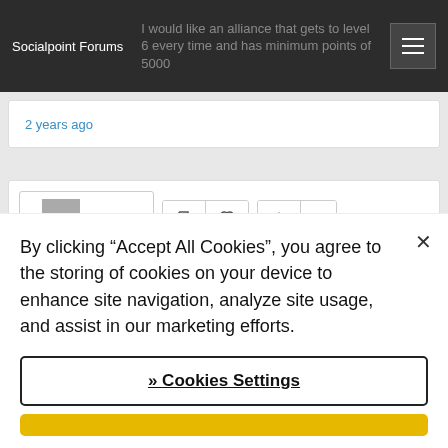Socialpoint Forums
I would like an alliance that gets to level 6 every time and has minimum points of 5000
2 years ago
Guest
0
You need
By clicking “Accept All Cookies”, you agree to the storing of cookies on your device to enhance site navigation, analyze site usage, and assist in our marketing efforts.
)» Cookies Settings